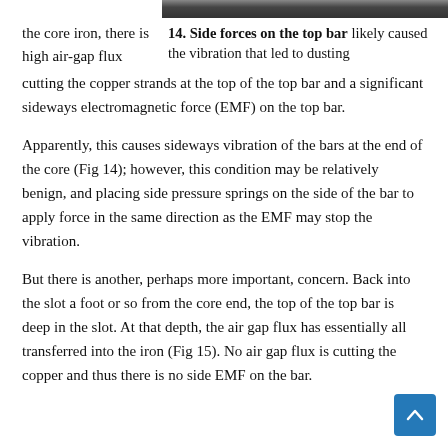[Figure (photo): Partial view of a generator bar or core component, appearing as a dark horizontal strip at the top of the page.]
14. Side forces on the top bar likely caused the vibration that led to dusting
the core iron, there is high air-gap flux cutting the copper strands at the top of the top bar and a significant sideways electromagnetic force (EMF) on the top bar.
Apparently, this causes sideways vibration of the bars at the end of the core (Fig 14); however, this condition may be relatively benign, and placing side pressure springs on the side of the bar to apply force in the same direction as the EMF may stop the vibration.
But there is another, perhaps more important, concern. Back into the slot a foot or so from the core end, the top of the top bar is deep in the slot. At that depth, the air gap flux has essentially all transferred into the iron (Fig 15). No air gap flux is cutting the copper and thus there is no side EMF on the bar.